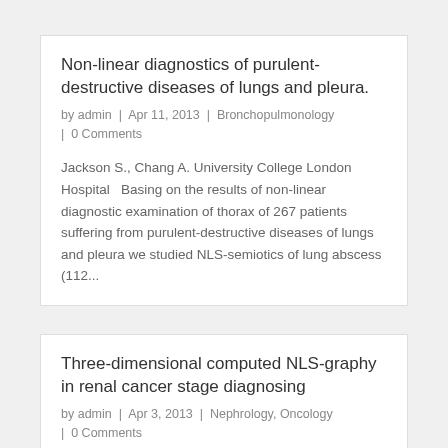Non-linear diagnostics of purulent-destructive diseases of lungs and pleura.
by admin | Apr 11, 2013 | Bronchopulmonology | 0 Comments
Jackson S., Chang A. University College London Hospital   Basing on the results of non-linear diagnostic examination of thorax of 267 patients suffering from purulent-destructive diseases of lungs and pleura we studied NLS-semiotics of lung abscess (112...
Three-dimensional computed NLS-graphy in renal cancer stage diagnosing
by admin | Apr 3, 2013 | Nephrology, Oncology | 0 Comments